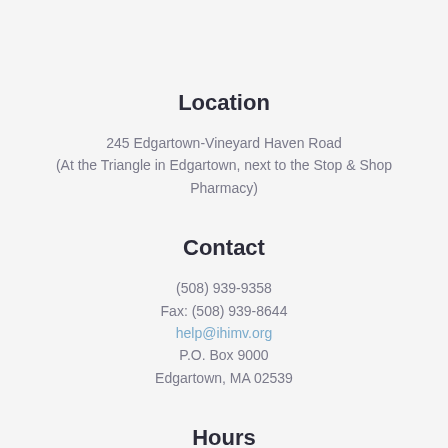Location
245 Edgartown-Vineyard Haven Road
(At the Triangle in Edgartown, next to the Stop & Shop Pharmacy)
Contact
(508) 939-9358
Fax: (508) 939-8644
help@ihimv.org
P.O. Box 9000
Edgartown, MA 02539
Hours